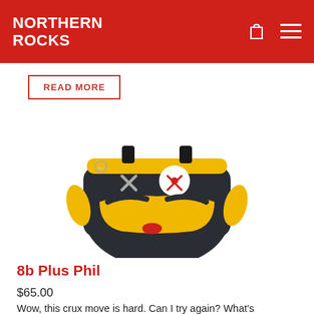NORTHERN ROCKS
READ MORE
[Figure (photo): A chalk bag product called 8b Plus Phil, designed to look like a fuzzy dark monster character with yellow accents, button eyes, and an angry expression.]
8b Plus Phil
$65.00
Wow, this crux move is hard. Can I try again? What's